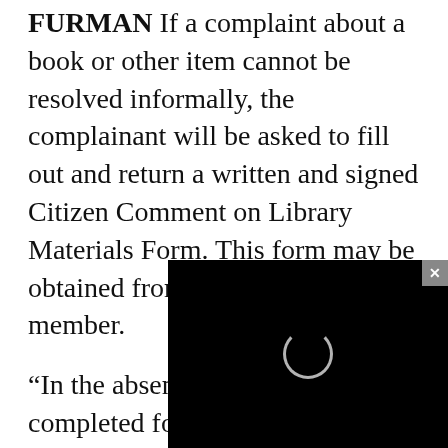FURMAN If a complaint about a book or other item cannot be resolved informally, the complainant will be asked to fill out and return a written and signed Citizen Comment on Library Materials Form. This form may be obtained from any ImagineIF staff member.
“In the absence of a fully completed form there is no formal complaint and no action will be taken,” Furman noted.
After the library di fully completed wr director establishe four library profes complaint. The committees
[Figure (screenshot): Black video player overlay with a loading spinner circle in the center, and a gray close button (×) in the top-right corner.]